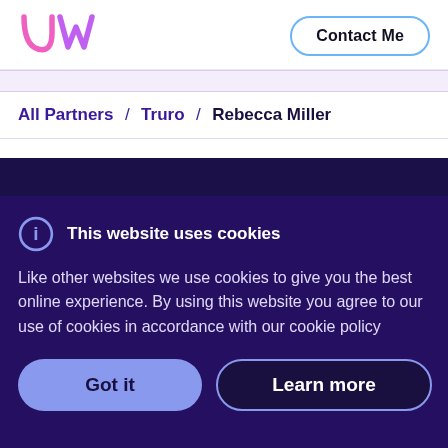[Figure (logo): UW logo in pink/purple outlined lettering]
Contact Me
All Partners / Truro / Rebecca Miller
This website uses cookies
Like other websites we use cookies to give you the best online experience. By using this website you agree to our use of cookies in accordance with our cookie policy
Got it
Learn more